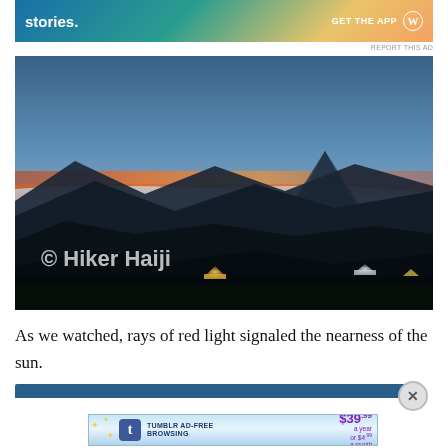[Figure (other): Advertisement banner with teal-to-orange gradient background, white bold text 'stories.' on left, 'GET THE APP' text and WordPress logo circle on right]
[Figure (photo): Dramatic mountain sunrise/sunset landscape photograph showing layered dark mountain silhouettes, sea of clouds in a valley, vibrant orange and red horizon glow, blue sky above, conical peak (possibly Mt. Fuji) in background right, camping tents glowing yellow and white in foreground. Copyright watermark '© Hiker Haiji' in lower left.]
As we watched, rays of red light signaled the nearness of the sun.
[Figure (other): Tumblr advertisement: blue gradient bar on left, close X button on right, Advertisements label above, Tumblr AD-FREE BROWSING banner with $39.99 a year or $4.99 a month pricing]